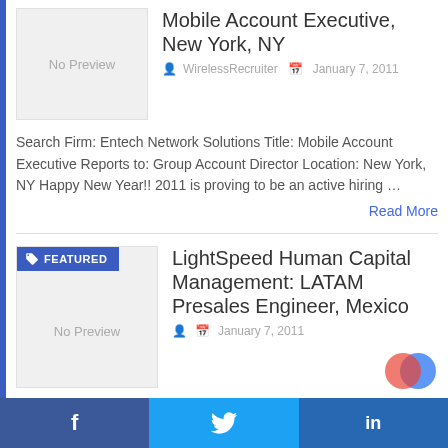Mobile Account Executive, New York, NY
WirelessRecruiter   January 7, 2011
Search Firm: Entech Network Solutions Title: Mobile Account Executive Reports to: Group Account Director Location: New York, NY Happy New Year!! 2011 is proving to be an active hiring …
Read More
[Figure (other): FEATURED badge label]
LightSpeed Human Capital Management: LATAM Presales Engineer, Mexico
January 7, 2011
Search Firm: LightSpeed Human Capital Management
f  Twitter bird icon  in